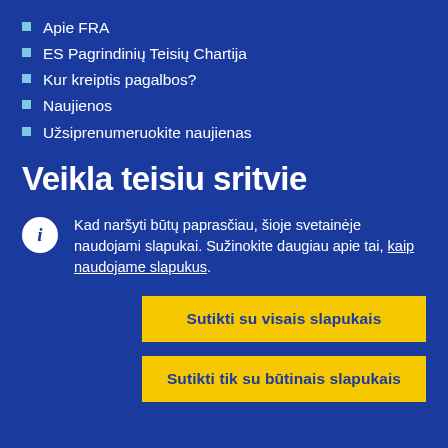Apie FRA
ES Pagrindinių Teisių Chartija
Kur kreiptis pagalbos?
Naujienos
Užsiprenumeruokite naujienas
Veikla teisiu sritvie
Kad naršyti būtų paprasčiau, šioje svetainėje naudojami slapukai. Sužinokite daugiau apie tai, kaip naudojame slapukus.
Sutikti su visais slapukais
Sutikti tik su būtinais slapukais